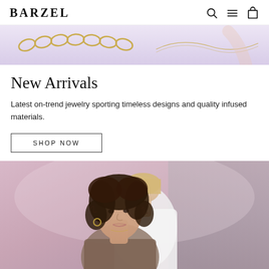BARZEL
[Figure (photo): Partial view of a fashion/jewelry photo showing a gold chain necklace against a light purple/lavender background with a woman's hands]
New Arrivals
Latest on-trend jewelry sporting timeless designs and quality infused materials.
SHOP NOW
[Figure (photo): Two women models wearing hoop earrings and jewelry, photographed outdoors against a light stone/concrete background. One woman has curly dark hair in the foreground, the other has blonde hair and wears a white shirt in the background.]